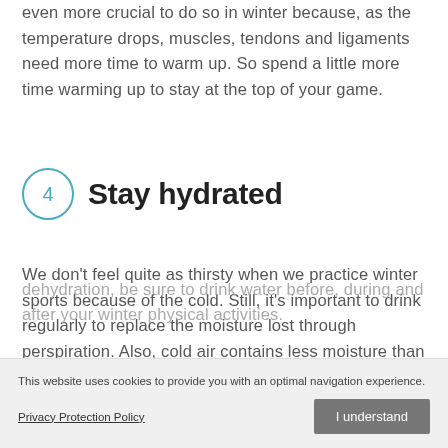even more crucial to do so in winter because, as the temperature drops, muscles, tendons and ligaments need more time to warm up. So spend a little more time warming up to stay at the top of your game.
4  Stay hydrated
We don't feel quite as thirsty when we practice winter sports because of the cold. Still, it's important to drink regularly to replace the moisture lost through perspiration. Also, cold air contains less moisture than hot air, increasing the risk of dehydration. To avoid
dehydration, be sure to drink water before, during and after your winter physical activities.
This website uses cookies to provide you with an optimal navigation experience.
Privacy Protection Policy
I understand